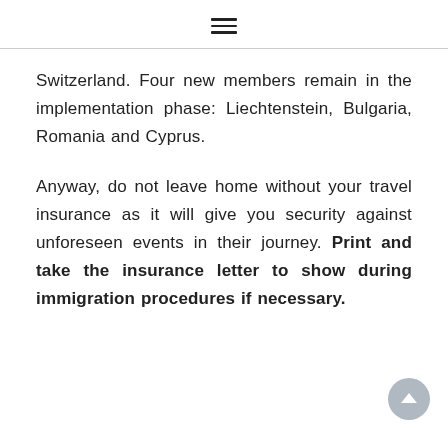≡
Switzerland. Four new members remain in the implementation phase: Liechtenstein, Bulgaria, Romania and Cyprus.
Anyway, do not leave home without your travel insurance as it will give you security against unforeseen events in their journey. Print and take the insurance letter to show during immigration procedures if necessary.